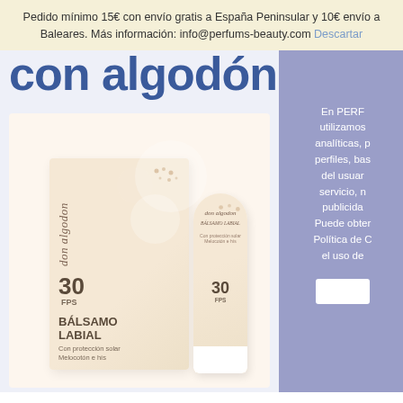Pedido mínimo 15€ con envío gratis a España Peninsular y 10€ envío a Baleares. Más información: info@perfums-beauty.com Descartar
con algodón
[Figure (photo): Don Algodón Bálsamo Labial SPF 30 product packaging showing a box and a tube. The box and tube have a beige/cream color with the don algodon branding and text reading BÁLSAMO LABIAL, Con protección solar, Melocotón e hís. Both show SPF 30 prominently.]
En PERF utilizamos analiticas, p perfiles, bas del usuar servicio, n publicida Puede obter Politica de C el uso de